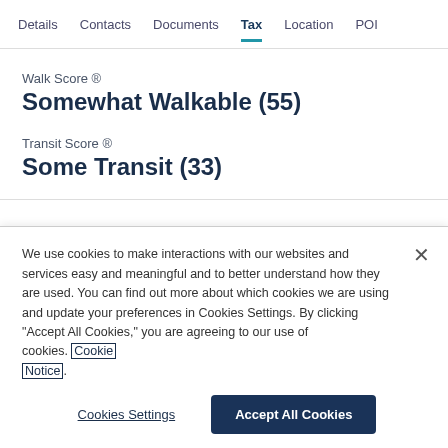Details  Contacts  Documents  Tax  Location  POI
Walk Score ®
Somewhat Walkable (55)
Transit Score ®
Some Transit (33)
We use cookies to make interactions with our websites and services easy and meaningful and to better understand how they are used. You can find out more about which cookies we are using and update your preferences in Cookies Settings. By clicking "Accept All Cookies," you are agreeing to our use of cookies. Cookie Notice.
Cookies Settings | Accept All Cookies